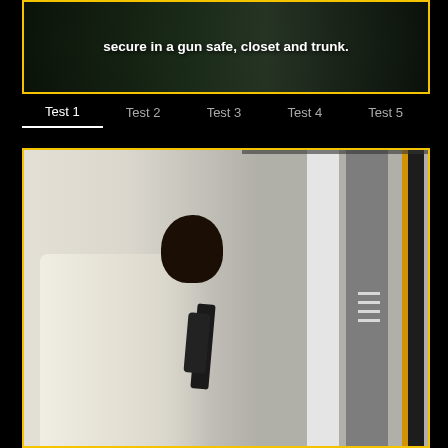[Figure (screenshot): Video screenshot showing person with rifle outdoors, text overlay reads 'secure in a gun safe, closet and trunk.']
secure in a gun safe, closet and trunk.
Test 1   Test 2   Test 3   Test 4   Test 5
[Figure (screenshot): Person holding a rifle aimed into a closet with hanging clothes visible on the right side.]